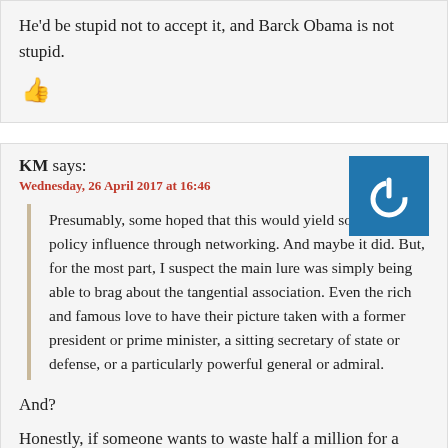He'd be stupid not to accept it, and Barck Obama is not stupid.
[Figure (other): Red thumbs up icon]
KM says:
Wednesday, 26 April 2017 at 16:46
[Figure (other): Blue square avatar with white power button icon]
Presumably, some hoped that this would yield some sort of policy influence through networking. And maybe it did. But, for the most part, I suspect the main lure was simply being able to brag about the tangential association. Even the rich and famous love to have their picture taken with a former president or prime minister, a sitting secretary of state or defense, or a particularly powerful general or admiral.
And?
Honestly, if someone wants to waste half a million for a